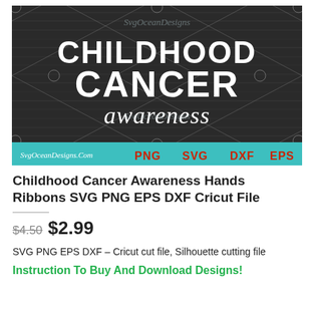[Figure (illustration): Product preview image showing 'Childhood Cancer Awareness' SVG design with bold white text on dark wood-grain and diamond pattern background, with teal banner at bottom showing SvgOceanDesigns.Com logo and PNG SVG DXF EPS format labels in red text.]
Childhood Cancer Awareness Hands Ribbons SVG PNG EPS DXF Cricut File
$4.50  $2.99
SVG PNG EPS DXF – Cricut cut file, Silhouette cutting file
Instruction To Buy And Download Designs!